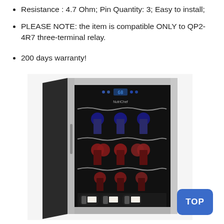Resistance : 4.7 Ohm; Pin Quantity: 3; Easy to install;
PLEASE NOTE: the item is compatible ONLY to QP2-4R7 three-terminal relay.
200 days warranty!
[Figure (photo): Photo of a NutriChef stainless steel wine cooler/refrigerator with glass door, showing multiple wine bottles stored on wavy chrome racks and a digital display at the top.]
TOP